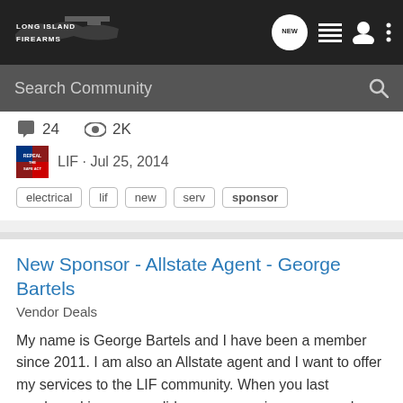Long Island Firearms — navigation bar with NEW, list, user, and menu icons
Search Community
24  2K
LIF · Jul 25, 2014
electrical  lif  new  serv  sponsor
New Sponsor - Allstate Agent - George Bartels
Vendor Deals
My name is George Bartels and I have been a member since 2011. I am also an Allstate agent and I want to offer my services to the LIF community. When you last purchased insurance, did someone review your needs or did you complete a form online and looked only at price? The best price is not...